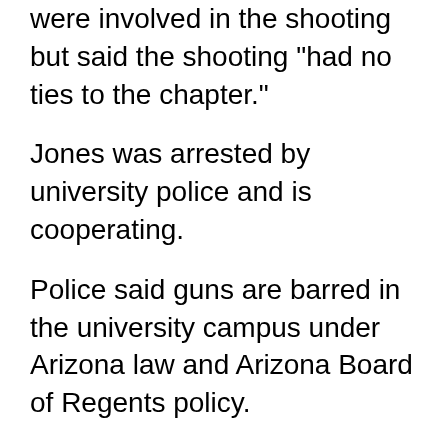were involved in the shooting but said the shooting "had no ties to the chapter."
Jones was arrested by university police and is cooperating.
Police said guns are barred in the university campus under Arizona law and Arizona Board of Regents policy.
University president Rita Cheng said classes were to go on as scheduled on Friday and branded the incident as "isolated," adding that "our hearts are heavy."